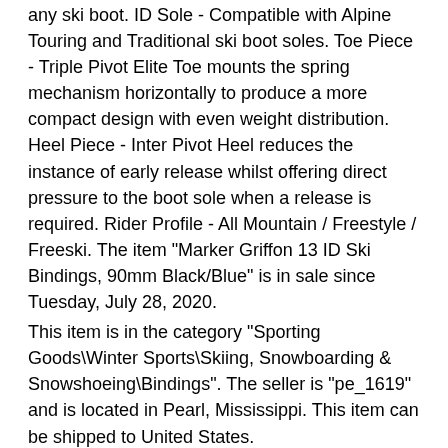any ski boot. ID Sole - Compatible with Alpine Touring and Traditional ski boot soles. Toe Piece - Triple Pivot Elite Toe mounts the spring mechanism horizontally to produce a more compact design with even weight distribution. Heel Piece - Inter Pivot Heel reduces the instance of early release whilst offering direct pressure to the boot sole when a release is required. Rider Profile - All Mountain / Freestyle / Freeski. The item "Marker Griffon 13 ID Ski Bindings, 90mm Black/Blue" is in sale since Tuesday, July 28, 2020.
This item is in the category "Sporting Goods\Winter Sports\Skiing, Snowboarding & Snowshoeing\Bindings". The seller is "pe_1619" and is located in Pearl, Mississippi. This item can be shipped to United States.
Type: Bindings
Color: Blue
Binding Size: 90 mm
Brand: Volkl